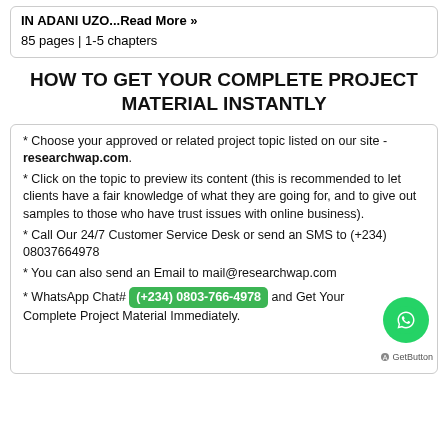IN ADANI UZO...Read More »
85 pages | 1-5 chapters
HOW TO GET YOUR COMPLETE PROJECT MATERIAL INSTANTLY
* Choose your approved or related project topic listed on our site - researchwap.com.
* Click on the topic to preview its content (this is recommended to let clients have a fair knowledge of what they are going for, and to give out samples to those who have trust issues with online business).
* Call Our 24/7 Customer Service Desk or send an SMS to (+234) 08037664978
* You can also send an Email to mail@researchwap.com
* WhatsApp Chat# (+234) 0803-766-4978 and Get Your Complete Project Material Immediately.